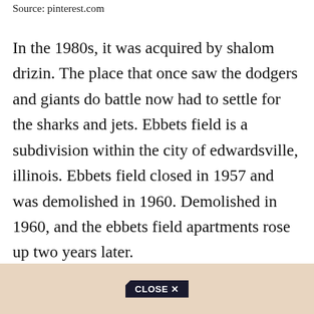Source: pinterest.com
In the 1980s, it was acquired by shalom drizin. The place that once saw the dodgers and giants do battle now had to settle for the sharks and jets. Ebbets field is a subdivision within the city of edwardsville, illinois. Ebbets field closed in 1957 and was demolished in 1960. Demolished in 1960, and the ebbets field apartments rose up two years later.
[Figure (other): Advertisement banner with a CLOSE X button overlay at the bottom of the page]